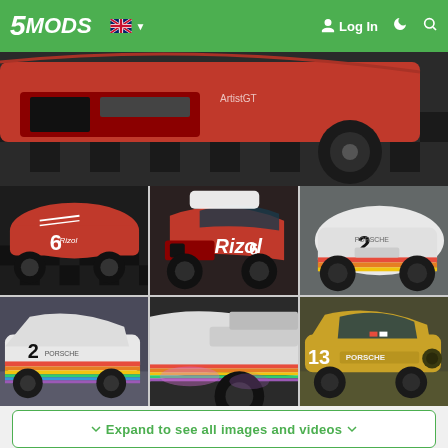5MODS | Log In
[Figure (photo): Main large banner image of a red racing car (Porsche) on a checkered floor, close-up of front/side]
[Figure (photo): Grid of 6 car photos: red Porsche #6 side view, red Porsche #6 front-side, white Porsche #2 front, white Porsche rainbow livery side, white Porsche detail close-up, yellow Porsche #13 side]
Expand to see all images and videos